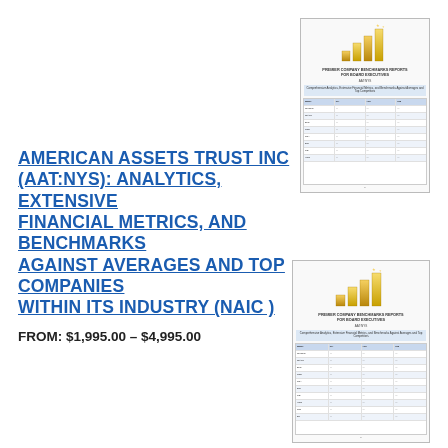[Figure (illustration): Thumbnail image of a financial benchmarks report cover showing gold bar chart graphic and a data table with financial metrics]
AMERICAN ASSETS TRUST INC (AAT:NYS): ANALYTICS, EXTENSIVE FINANCIAL METRICS, AND BENCHMARKS AGAINST AVERAGES AND TOP COMPANIES WITHIN ITS INDUSTRY (NAIC )
FROM: $1,995.00 – $4,995.00
[Figure (illustration): Second thumbnail image of the same financial benchmarks report cover showing gold bar chart graphic and a data table with financial metrics]